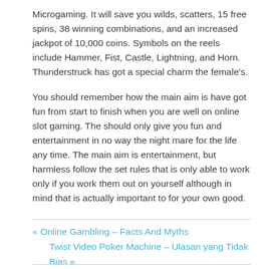Microgaming. It will save you wilds, scatters, 15 free spins, 38 winning combinations, and an increased jackpot of 10,000 coins. Symbols on the reels include Hammer, Fist, Castle, Lightning, and Horn. Thunderstruck has got a special charm the female's.
You should remember how the main aim is have got fun from start to finish when you are well on online slot gaming. The should only give you fun and entertainment in no way the night mare for the life any time. The main aim is entertainment, but harmless follow the set rules that is only able to work only if you work them out on yourself although in mind that is actually important to for your own good.
« Online Gambling – Facts And Myths
Twist Video Poker Machine – Ulasan yang Tidak Bias »